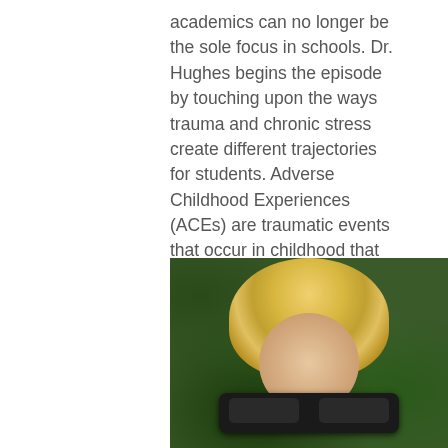academics can no longer be the sole focus in schools. Dr. Hughes begins the episode by touching upon the ways trauma and chronic stress create different trajectories for students. Adverse Childhood Experiences (ACEs) are traumatic events that occur in childhood that have lasting impacts into adulthood. ACEs are directly correlated with a student's learning, social connections, and problem-solving ability.
[Figure (photo): Portrait photo of a blonde woman wearing sunglasses, photographed outdoors with green foliage in the background. The photo is cropped showing the top half of the face prominently.]